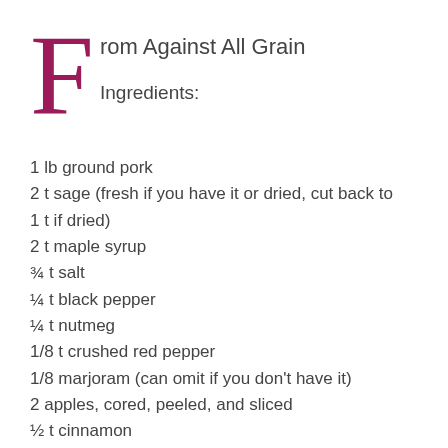From Against All Grain
Ingredients:
1 lb ground pork
2 t sage (fresh if you have it or dried, cut back to 1 t if dried)
2 t maple syrup
¾ t salt
¼ t black pepper
¼ t nutmeg
1/8 t crushed red pepper
1/8 marjoram (can omit if you don't have it)
2 apples, cored, peeled, and sliced
½ t cinnamon